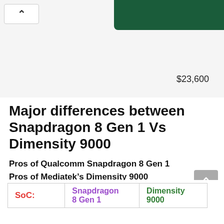[Figure (screenshot): Top browser bar area with back button (chevron up), a dark green banner shape at top right, and a price '$23,600' shown in the content below the banner.]
Major differences between Snapdragon 8 Gen 1 Vs Dimensity 9000
Pros of Qualcomm Snapdragon 8 Gen 1
Pros of Mediatek’s Dimensity 9000
Full comparison between Snapdragon 8 Gen 1 vs Dimensity 9000
| SoC: | Snapdragon 8 Gen 1 | Dimensity 9000 |
| --- | --- | --- |